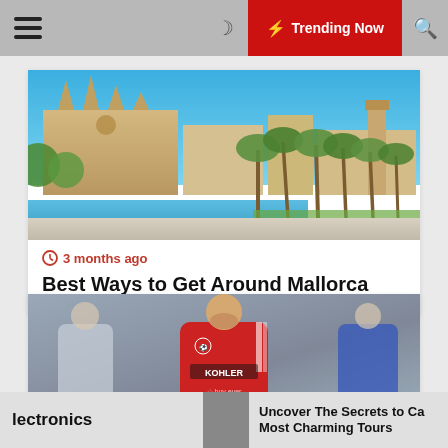Trending Now
[Figure (photo): Aerial/street-level photo of Mallorca cathedral and waterfront with palm trees and blue sky]
3 months ago
Best Ways to Get Around Mallorca
[Figure (photo): Soccer player in red Manchester United jersey (KOHLER sponsor) covering mouth with hand]
lectronics | Uncover The Secrets to Ca Most Charming Tours